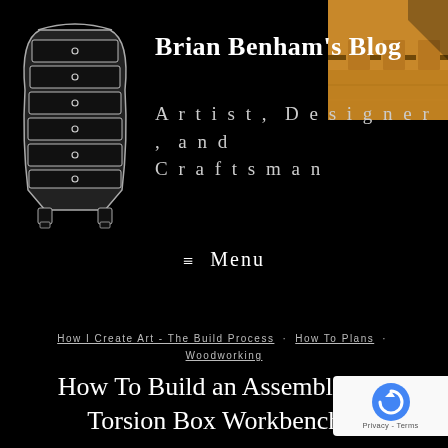[Figure (illustration): Line drawing/illustration of a tall curved dresser with multiple drawers and small round handles on a black background]
[Figure (photo): Close-up photo of a wood joint (dovetail or box joint) showing warm brown wood grain, positioned in top-right corner]
Brian Benham's Blog
Artist, Designer, and Craftsman
≡ Menu
How I Create Art - The Build Process · How To Plans · Woodworking
How To Build an Assembly Table Torsion Box Workbench – Woodworking